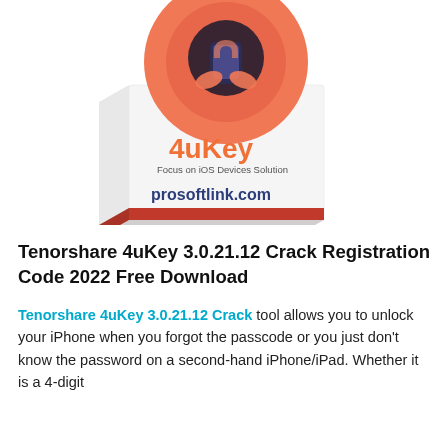[Figure (illustration): Product box for Tenorshare 4uKey software showing coral/salmon colored logo with iOS device graphic on top, white box body with '4uKey' in orange text, 'Focus on iOS Devices Solution' subtitle, and 'prosoftlink.com' in dark blue bold text at bottom.]
Tenorshare 4uKey 3.0.21.12 Crack Registration Code 2022 Free Download
Tenorshare 4uKey 3.0.21.12 Crack tool allows you to unlock your iPhone when you forgot the passcode or you just don't know the password on a second-hand iPhone/iPad. Whether it is a 4-digit